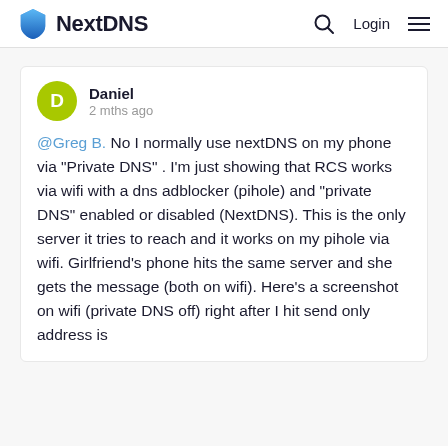NextDNS
@Greg B. No I normally use nextDNS on my phone via "Private DNS" . I'm just showing that RCS works via wifi with a dns adblocker (pihole) and "private DNS" enabled or disabled (NextDNS). This is the only server it tries to reach and it works on my pihole via wifi. Girlfriend's phone hits the same server and she gets the message (both on wifi). Here's a screenshot on wifi (private DNS off) right after I hit send only address is